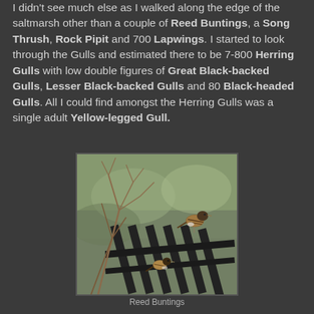I didn't see much else as I walked along the edge of the saltmarsh other than a couple of Reed Buntings, a Song Thrush, Rock Pipit and 700 Lapwings. I started to look through the Gulls and estimated there to be 7-800 Herring Gulls with low double figures of Great Black-backed Gulls, Lesser Black-backed Gulls and 80 Black-headed Gulls. All I could find amongst the Herring Gulls was a single adult Yellow-legged Gull.
[Figure (photo): Two Reed Buntings perched on bare twigs and a dark metal fence/gate, with a blurred green background.]
Reed Buntings